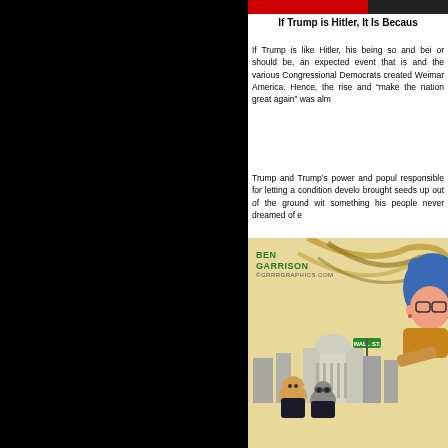If Trump is Hitler, It Is Becaus
If Trump is like Hitler, his being so and bei or should be, an expected event that is and the various Congressional Democrats created Weimar America. Hence, the rise and “make the nation great again” was alm
Trump and Trump’s power and popul responsible for letting a condition develo brought seeds up out of the ground wit something his people never dreamed of e
[Figure (illustration): Ben Garrison political cartoon showing a blue-haired character looking through something, with cartoon animal characters in suits in front of a cityscape including a Capitol-like building and a Wall St. sign]